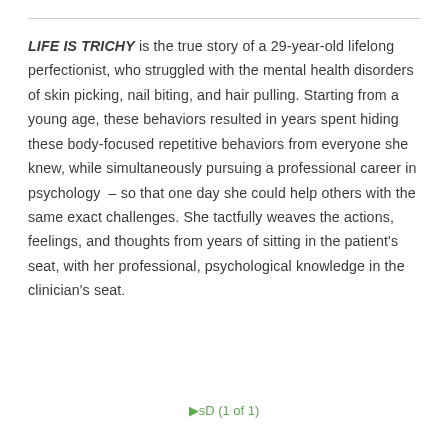LIFE IS TRICHY is the true story of a 29-year-old lifelong perfectionist, who struggled with the mental health disorders of skin picking, nail biting, and hair pulling. Starting from a young age, these behaviors resulted in years spent hiding these body-focused repetitive behaviors from everyone she knew, while simultaneously pursuing a professional career in psychology  – so that one day she could help others with the same exact challenges. She tactfully weaves the actions, feelings, and thoughts from years of sitting in the patient's seat, with her professional, psychological knowledge in the clinician's seat.
sD (1 of 1)